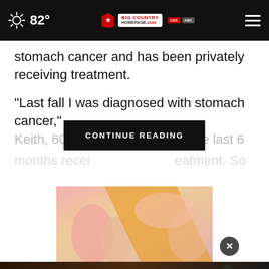82° Big Country Homepage
stomach cancer and has been privately receiving treatment.
“Last fall I was diagnosed with stomach cancer,” Keith, 60, wrote the last 6 months recei... treatment. So
CONTINUE READING
[Figure (photo): Close-up photo of hands, warm tones with orange and pink colors]
Veterans, you're not alone.